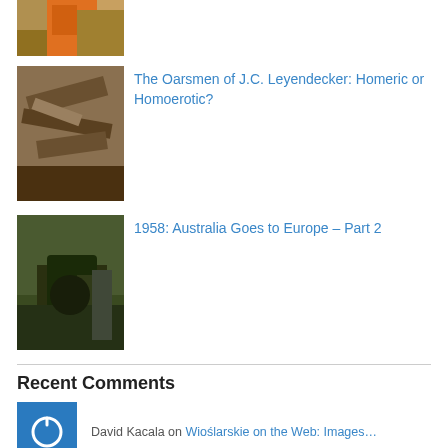[Figure (photo): Partially visible thumbnail of a person in orange attire at top of page]
[Figure (photo): Thumbnail image showing debris or wood pieces]
The Oarsmen of J.C. Leyendecker: Homeric or Homoerotic?
[Figure (photo): Thumbnail image of people with machinery outdoors]
1958: Australia Goes to Europe – Part 2
Recent Comments
[Figure (logo): Blue square with white power button icon - avatar for David Kacala]
David Kacala on Wioślarskie on the Web: Images…
[Figure (logo): Blue square with white power button icon - avatar for Leo Gibson]
Leo Gibson on Cloisim an Bád ag Canadh / I H…